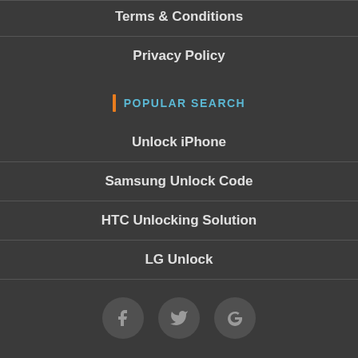Terms & Conditions
Privacy Policy
POPULAR SEARCH
Unlock iPhone
Samsung Unlock Code
HTC Unlocking Solution
LG Unlock
[Figure (other): Social media icons: Facebook, Twitter, Google]
Payment Secure 🔒